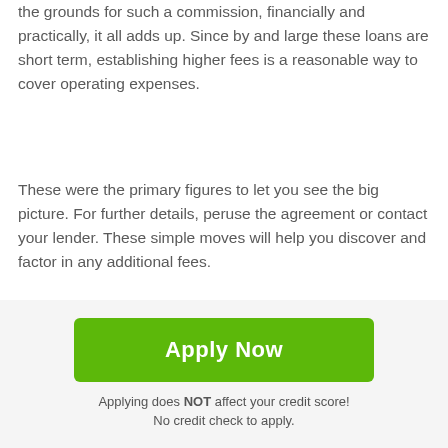the grounds for such a commission, financially and practically, it all adds up. Since by and large these loans are short term, establishing higher fees is a reasonable way to cover operating expenses.
These were the primary figures to let you see the big picture. For further details, peruse the agreement or contact your lender. These simple moves will help you discover and factor in any additional fees.
How Can I Reduce the Cost?
We have some tips for those seeking the most affordable Payday loans Hartsville in Tennessee TN. Try following the
Apply Now
Applying does NOT affect your credit score!
No credit check to apply.